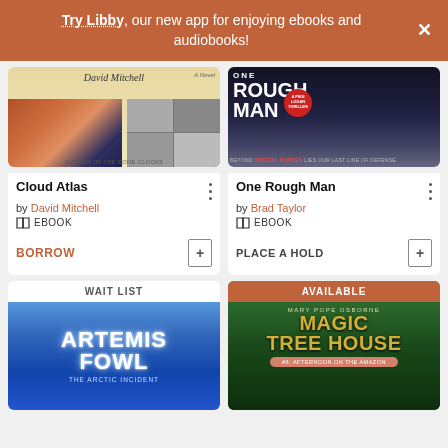Try Libby, our new app for enjoying ebooks and audiobooks!
[Figure (illustration): Cloud Atlas book cover by David Mitchell]
Cloud Atlas
by David Mitchell
EBOOK
BORROW
[Figure (illustration): One Rough Man book cover - a Pike Logan Thriller by Brad Taylor]
One Rough Man
by Brad Taylor
EBOOK
PLACE A HOLD
WAIT LIST
[Figure (illustration): Artemis Fowl - The Arctic Incident book cover]
AVAILABLE
[Figure (illustration): Magic Tree House #6: Afternoon on the Amazon by Mary Pope Osborne]